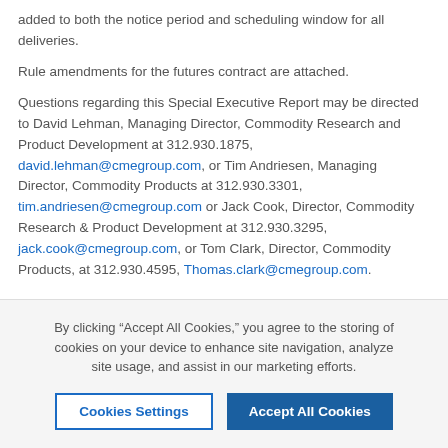added to both the notice period and scheduling window for all deliveries.
Rule amendments for the futures contract are attached.
Questions regarding this Special Executive Report may be directed to David Lehman, Managing Director, Commodity Research and Product Development at 312.930.1875, david.lehman@cmegroup.com, or Tim Andriesen, Managing Director, Commodity Products at 312.930.3301, tim.andriesen@cmegroup.com or Jack Cook, Director, Commodity Research & Product Development at 312.930.3295, jack.cook@cmegroup.com, or Tom Clark, Director, Commodity Products, at 312.930.4595, Thomas.clark@cmegroup.com.
By clicking “Accept All Cookies,” you agree to the storing of cookies on your device to enhance site navigation, analyze site usage, and assist in our marketing efforts.
Cookies Settings | Accept All Cookies